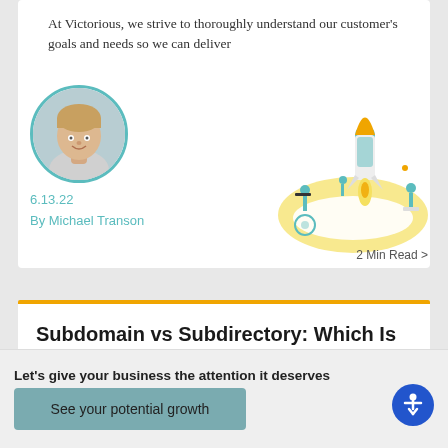At Victorious, we strive to thoroughly understand our customer's goals and needs so we can deliver
[Figure (photo): Circular profile photo of a young man (Michael Transon) with teal border]
[Figure (illustration): Illustration of rocket launch with small figures around it on a yellow cloud, with a flag and satellite dish]
6.13.22
By Michael Transon
2 Min Read >
Subdomain vs Subdirectory: Which Is Better For SEO?
Confused about using subdomains or subdirectory for SEO...
Let's give your business the attention it deserves
See your potential growth